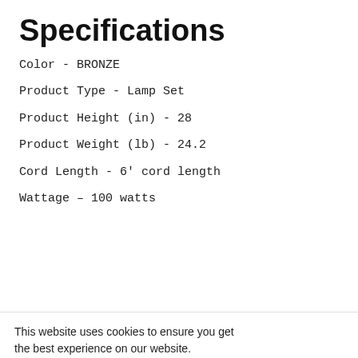Specifications
Color - BRONZE
Product Type - Lamp Set
Product Height (in) - 28
Product Weight (lb) - 24.2
Cord Length - 6' cord length
Wattage - 100 watts
Part or Model Number - 32190088
This website uses cookies to ensure you get the best experience on our website.
Learn more
REVIEWS
Related Products
Got it!
Chat with us